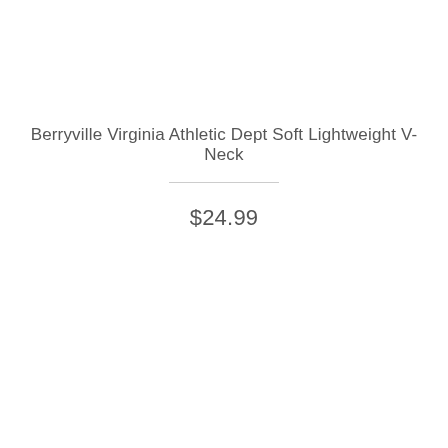Berryville Virginia Athletic Dept Soft Lightweight V-Neck
$24.99